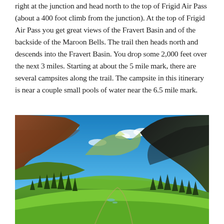right at the junction and head north to the top of Frigid Air Pass (about a 400 foot climb from the junction). At the top of Frigid Air Pass you get great views of the Fravert Basin and of the backside of the Maroon Bells. The trail then heads north and descends into the Fravert Basin. You drop some 2,000 feet over the next 3 miles. Starting at about the 5 mile mark, there are several campsites along the trail. The campsite in this itinerary is near a couple small pools of water near the 6.5 mile mark.
[Figure (photo): A mountain valley landscape with bright green meadows, conifer trees lining the slopes, dramatic rocky mountains on both sides, blue sky with white clouds above. The valley opens up in the middle distance with sunlit peaks visible.]